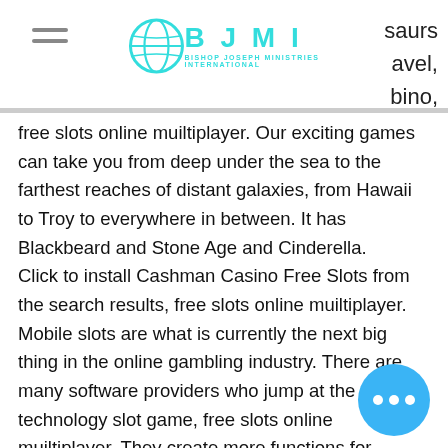BJMI Bishop Joseph Ministries International logo
saurs
avel,
bino,
free slots online muiltiplayer. Our exciting games can take you from deep under the sea to the farthest reaches of distant galaxies, from Hawaii to Troy to everywhere in between. It has Blackbeard and Stone Age and Cinderella.
Click to install Cashman Casino Free Slots from the search results, free slots online muiltiplayer.
Mobile slots are what is currently the next big thing in the online gambling industry. There are many software providers who jump at the technology slot game, free slots online muiltiplayer. They create more functions for mobile slots to bring more entertainment. You can see for yourself how the touch screen controls are.